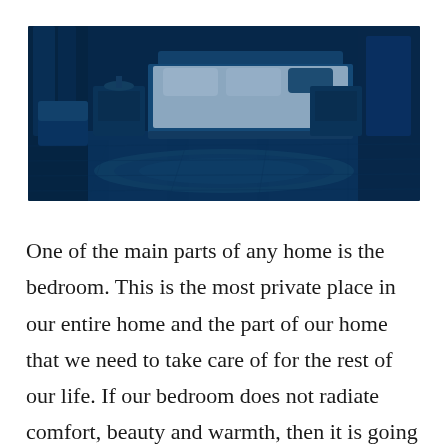[Figure (photo): A bedroom interior photo with a blue tint overlay. Shows a large bed with white bedding, a decorative rug on the floor, bedside tables, chairs, curtains, and hardwood flooring. The entire image has a dark blue color cast.]
One of the main parts of any home is the bedroom. This is the most private place in our entire home and the part of our home that we need to take care of for the rest of our life. If our bedroom does not radiate comfort, beauty and warmth, then it is going to be a place that